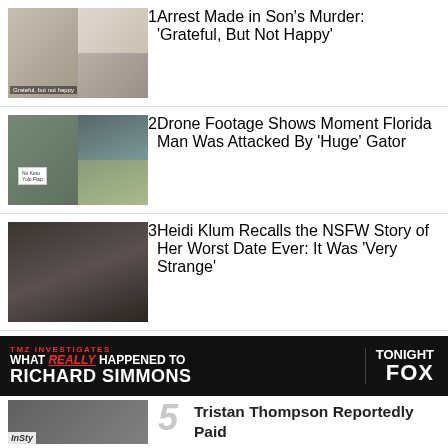[Figure (photo): News thumbnail collage: woman on left, person in floral outfit on right top, another photo right bottom]
1 Arrest Made in Son's Murder: 'Grateful, But Not Happy'
[Figure (photo): News thumbnail: man with sign on left, alligator/water scene on right]
2 Drone Footage Shows Moment Florida Man Was Attacked By 'Huge' Gator
[Figure (photo): News thumbnail: Heidi Klum smiling on dark background]
3 Heidi Klum Recalls the NSFW Story of Her Worst Date Ever: It Was 'Very Strange'
[Figure (photo): News thumbnail: Frances Bean Cobain portrait]
4 Frances Bean Cobain Reveals Why She 'Wasn't Sure' She'd Make It to 30
[Figure (screenshot): TMZ Investigates ad banner: WHAT REALLY HAPPENED TO RICHARD SIMMONS TONIGHT FOX]
[Figure (photo): Partial news thumbnail for item 5 with InStyle badge]
5 Tristan Thompson Reportedly Paid